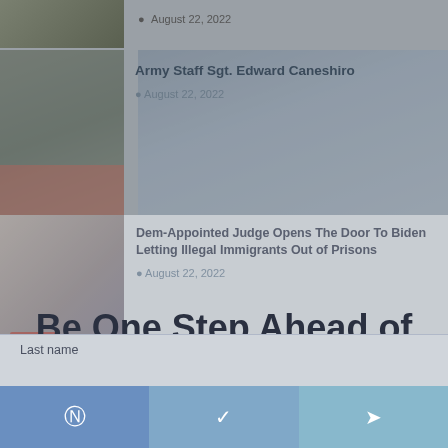[Figure (screenshot): Article thumbnail image with a person in a suit on the right and dark graphic on the left]
August 22, 2022
[Figure (screenshot): News article thumbnail with American flag and person]
Army Staff Sgt. Edward Caneshiro
August 22, 2022
[Figure (screenshot): News article thumbnail with person at desk]
Dem-Appointed Judge Opens The Door To Biden Letting Illegal Immigrants Out of Prisons
August 22, 2022
Be One Step Ahead of This Guy ->
Subscribe for Free to get the latest on whatever it is that Biden is doing, our award winning articles, editorial cartoons, columnists and more.
Save YUGE on MyPillow Sleep Products!
Email
Stand With Mike Lindell!
Cancel culture can't win when the people speak
visit MyPillow today!
First Name
Last name